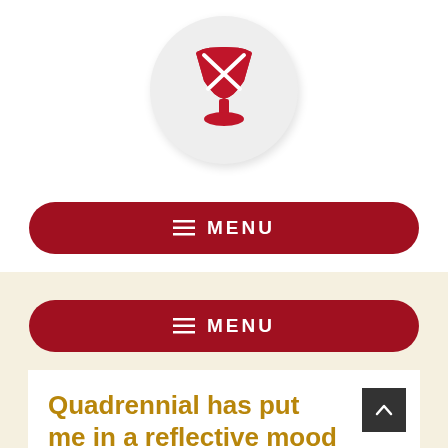[Figure (logo): Red chalice/goblet icon with X pattern on a light gray circle background]
≡ MENU
≡ MENU
Quadrennial has put me in a reflective mood – not for the first time
Posted on June 29, 2010